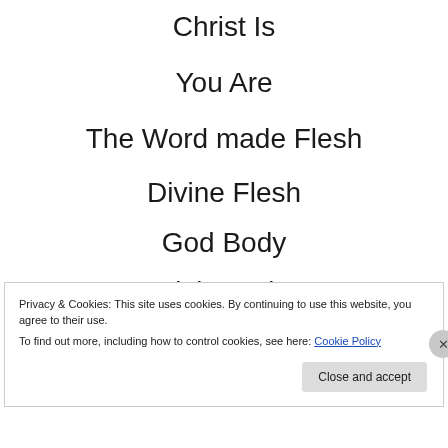Christ Is
You Are
The Word made Flesh
Divine Flesh
God Body
Light Body
Divine Light
Privacy & Cookies: This site uses cookies. By continuing to use this website, you agree to their use.
To find out more, including how to control cookies, see here: Cookie Policy
Close and accept